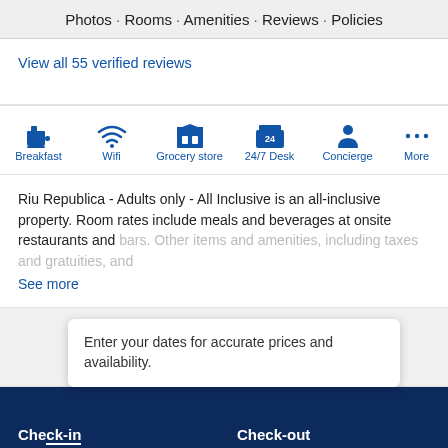Photos · Rooms · Amenities · Reviews · Policies
View all 55 verified reviews
[Figure (infographic): Amenity icons row: Breakfast (coffee cup), Wifi (wifi signal), Grocery store (store front), 24/7 Desk (building with 24 sign), Concierge (person icon), More (three dots)]
Riu Republica - Adults only - All Inclusive is an all-inclusive property. Room rates include meals and beverages at onsite restaurants and bars. Other items and amenities, including taxes and gratuities, and...
See more
Enter your dates for accurate prices and availability.
Check-in   Check-out